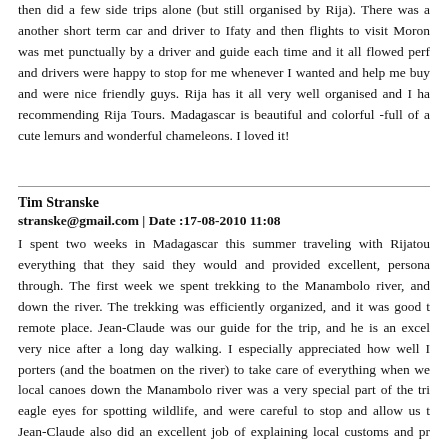then did a few side trips alone (but still organised by Rija). There was a another short term car and driver to Ifaty and then flights to visit Moron was met punctually by a driver and guide each time and it all flowed perf and drivers were happy to stop for me whenever I wanted and help me bu and were nice friendly guys. Rija has it all very well organised and I h recommending Rija Tours. Madagascar is beautiful and colorful -full of a cute lemurs and wonderful chameleons. I loved it!
Tim Stranske
stranske@gmail.com | Date :17-08-2010 11:08
I spent two weeks in Madagascar this summer traveling with Rijatou everything that they said they would and provided excellent, persona through. The first week we spent trekking to the Manambolo river, and down the river. The trekking was efficiently organized, and it was good t remote place. Jean-Claude was our guide for the trip, and he is an excel very nice after a long day walking. I especially appreciated how well I porters (and the boatmen on the river) to take care of everything when we local canoes down the Manambolo river was a very special part of the tri eagle eyes for spotting wildlife, and were careful to stop and allow us t Jean-Claude also did an excellent job of explaining local customs and p relaxing to not have to do anything all day except for look at wildlife